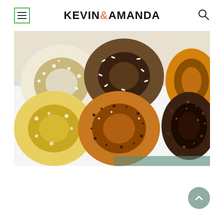KEVIN & AMANDA
[Figure (photo): Box of assorted donuts viewed from above, showing powdered sugar donuts, chocolate sprinkle donuts, a caramel/orange glazed donut with crumbles, and a glazed donut, arranged in a white box]